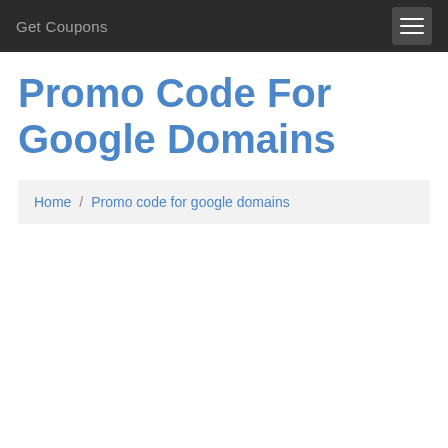Get Coupons
Promo Code For Google Domains
Home / Promo code for google domains